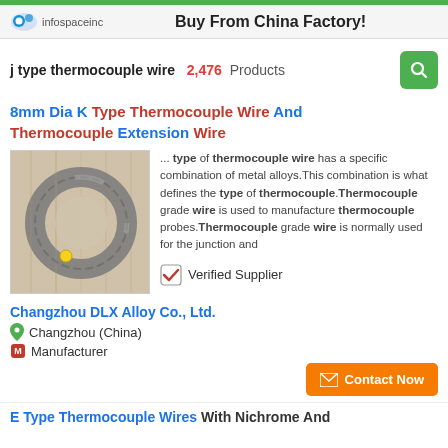Buy From China Factory!
j type thermocouple wire  2,476  Products
8mm Dia K Type Thermocouple Wire And Thermocouple Extension Wire
[Figure (photo): Photo of a circular coil of thermocouple wire on a wooden surface]
... type of thermocouple wire has a specific combination of metal alloys.This combination is what defines the type of thermocouple.Thermocouple grade wire is used to manufacture thermocouple probes.Thermocouple grade wire is normally used for the junction and
✓ Verified Supplier
Changzhou DLX Alloy Co., Ltd.
Changzhou (China)
Manufacturer
Contact Now
E Type Thermocouple Wires With Nichrome And